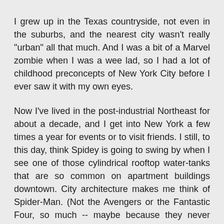I grew up in the Texas countryside, not even in the suburbs, and the nearest city wasn't really "urban" all that much. And I was a bit of a Marvel zombie when I was a wee lad, so I had a lot of childhood preconcepts of New York City before I ever saw it with my own eyes.
Now I've lived in the post-industrial Northeast for about a decade, and I get into New York a few times a year for events or to visit friends. I still, to this day, think Spidey is going to swing by when I see one of those cylindrical rooftop water-tanks that are so common on apartment buildings downtown. City architecture makes me think of Spider-Man. (Not the Avengers or the Fantastic Four, so much -- maybe because they never really interacted with the architecture except to rip holes in it.)
I also still think of NYU as "the school Peter Parker goes to."
Reply